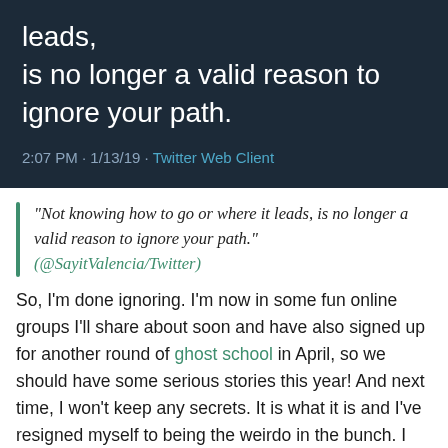[Figure (screenshot): Tweet screenshot on dark background showing text: 'leads, is no longer a valid reason to ignore your path.' with timestamp '2:07 PM · 1/13/19 · Twitter Web Client']
“Not knowing how to go or where it leads, is no longer a valid reason to ignore your path.” (@SayitValencia/Twitter)
So, I’m done ignoring. I’m now in some fun online groups I’ll share about soon and have also signed up for another round of ghost school in April, so we should have some serious stories this year! And next time, I won’t keep any secrets. It is what it is and I’ve resigned myself to being the weirdo in the bunch. I even bought some Tarot cards. 😉